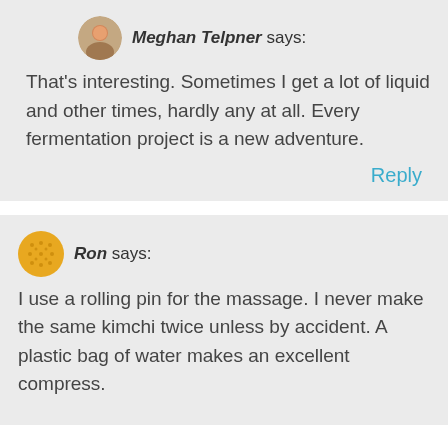Meghan Telpner says:
That's interesting. Sometimes I get a lot of liquid and other times, hardly any at all. Every fermentation project is a new adventure.
Reply
Ron says:
I use a rolling pin for the massage. I never make the same kimchi twice unless by accident. A plastic bag of water makes an excellent compress.